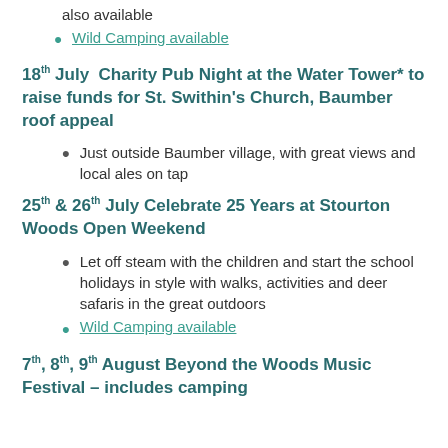also available
Wild Camping available
18th July  Charity Pub Night at the Water Tower* to raise funds for St. Swithin's Church, Baumber roof appeal
Just outside Baumber village, with great views and local ales on tap
25th & 26th July Celebrate 25 Years at Stourton Woods Open Weekend
Let off steam with the children and start the school holidays in style with walks, activities and deer safaris in the great outdoors
Wild Camping available
7th, 8th, 9th August Beyond the Woods Music Festival – includes camping